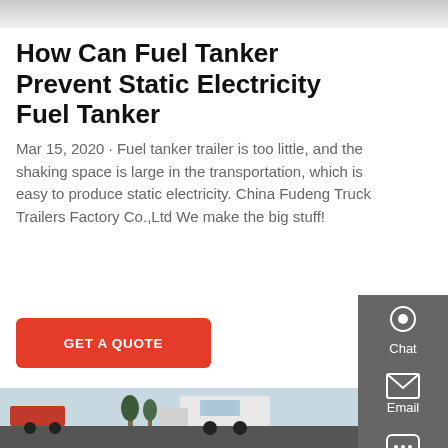[Figure (photo): Top portion of a webpage with a light grey banner/image area at the top]
How Can Fuel Tanker Prevent Static Electricity Fuel Tanker
Mar 15, 2020 · Fuel tanker trailer is too little, and the shaking space is large in the transportation, which is easy to produce static electricity. China Fudeng Truck Trailers Factory Co.,Ltd We make the big stuff!
GET A QUOTE
[Figure (photo): Photo of a white semi truck / fuel tanker trailer at a yard, with trees and mountains in the background, another red truck visible on the left]
[Figure (other): Sidebar with Chat, Email, and Contact icons on dark grey background]